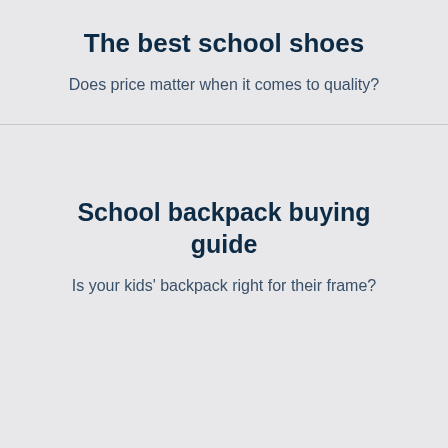The best school shoes
Does price matter when it comes to quality?
School backpack buying guide
Is your kids' backpack right for their frame?